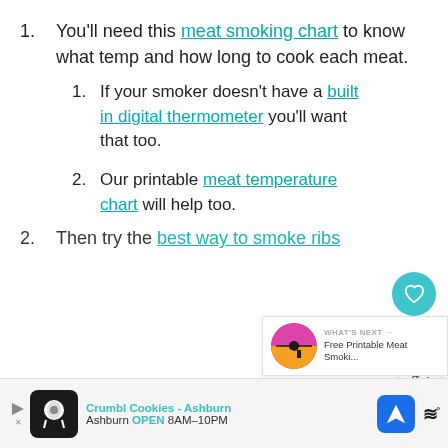1. You'll need this meat smoking chart to know what temp and how long to cook each meat.
1. If your smoker doesn't have a built in digital thermometer you'll want that too.
2. Our printable meat temperature chart will help too.
2. Then try the best way to smoke ribs
[Figure (other): Advertisement banner at bottom: Crumbl Cookies - Ashburn, showing logo, open hours 8AM-10PM, navigation icon, and audio/wave icon]